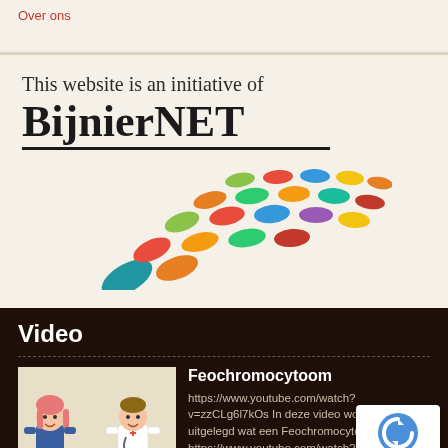Over ons
This website is an initiative of
[Figure (logo): BijnierNET logo with colorful oval/leaf shapes arranged in a fan/net pattern below the text]
Video
[Figure (illustration): Animated illustration of two characters: a girl with red hair and a doctor/male figure with a stethoscope]
Feochromocytoom
https://www.youtube.com/watch?v=zzCLg6l7kOs In deze video wordt eenvoudig uitgelegd wat een Feochromocytoom is. https://www.youtube.com/watch?v=zzCLg6l7kOs nvacp11 [...]